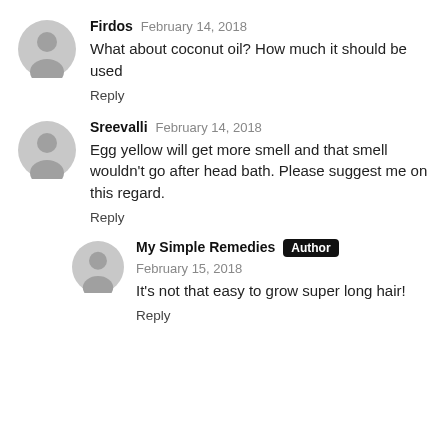Firdos  February 14, 2018
What about coconut oil? How much it should be used
Reply
Sreevalli  February 14, 2018
Egg yellow will get more smell and that smell wouldn't go after head bath. Please suggest me on this regard.
Reply
My Simple Remedies  Author  February 15, 2018
It's not that easy to grow super long hair!
Reply